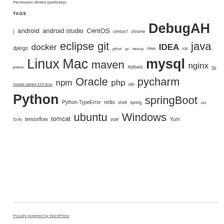Permission denied (publickey)
TAGS
) android android studio CentOS centos7 chrome DebugAH django docker eclipse git github go hadoop Hive IDEA ios java jenkins Linux Mac maven MyBatis mysql nginx No module named XXX error npm Oracle php pip pycharm Python Python TypeError redis shell spring springBoot ssh SVN tensorflow tomcat ubuntu vue Windows Yum
Proudly powered by WordPress